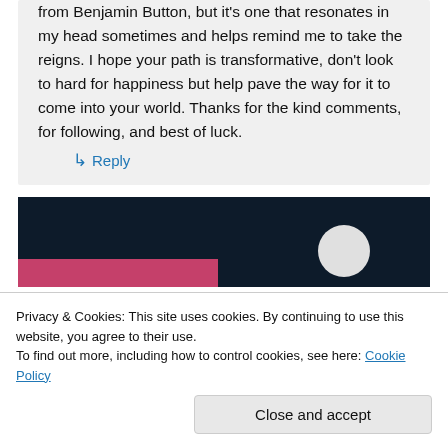from Benjamin Button, but it's one that resonates in my head sometimes and helps remind me to take the reigns. I hope your path is transformative, don't look to hard for happiness but help pave the way for it to come into your world. Thanks for the kind comments, for following, and best of luck.
↳ Reply
[Figure (screenshot): Dark navy background banner with a pink/magenta horizontal bar at the bottom-left and a light gray circle avatar shape at the bottom-right]
Privacy & Cookies: This site uses cookies. By continuing to use this website, you agree to their use. To find out more, including how to control cookies, see here: Cookie Policy
Close and accept